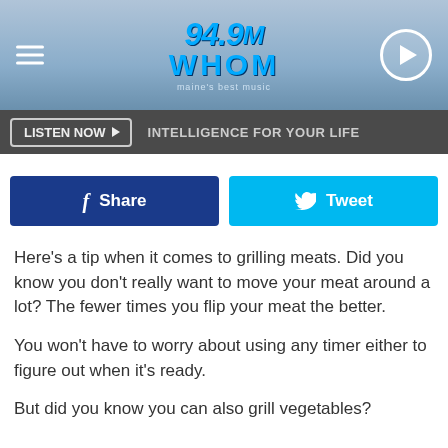[Figure (logo): 94.9 WHOM radio station logo with hamburger menu and play button on blue gradient background]
LISTEN NOW ▶  INTELLIGENCE FOR YOUR LIFE
[Figure (screenshot): Facebook Share button (dark blue) and Twitter Tweet button (cyan)]
Here's a tip when it comes to grilling meats. Did you know you don't really want to move your meat around a lot? The fewer times you flip your meat the better.
You won't have to worry about using any timer either to figure out when it's ready.
But did you know you can also grill vegetables?